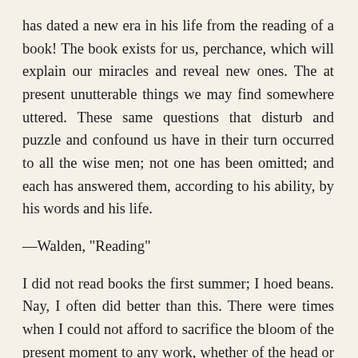has dated a new era in his life from the reading of a book! The book exists for us, perchance, which will explain our miracles and reveal new ones. The at present unutterable things we may find somewhere uttered. These same questions that disturb and puzzle and confound us have in their turn occurred to all the wise men; not one has been omitted; and each has answered them, according to his ability, by his words and his life.
—Walden, "Reading"
I did not read books the first summer; I hoed beans. Nay, I often did better than this. There were times when I could not afford to sacrifice the bloom of the present moment to any work, whether of the head or hands. I love a broad margin to my life. Sometimes, in a summer morning, having taken my